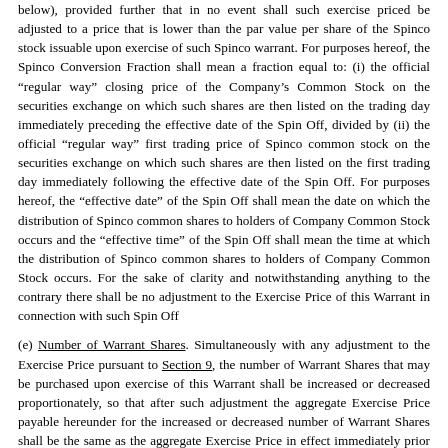below), provided further that in no event shall such exercise priced be adjusted to a price that is lower than the par value per share of the Spinco stock issuable upon exercise of such Spinco warrant. For purposes hereof, the Spinco Conversion Fraction shall mean a fraction equal to: (i) the official “regular way” closing price of the Company’s Common Stock on the securities exchange on which such shares are then listed on the trading day immediately preceding the effective date of the Spin Off, divided by (ii) the official “regular way” first trading price of Spinco common stock on the securities exchange on which such shares are then listed on the first trading day immediately following the effective date of the Spin Off. For purposes hereof, the “effective date” of the Spin Off shall mean the date on which the distribution of Spinco common shares to holders of Company Common Stock occurs and the “effective time” of the Spin Off shall mean the time at which the distribution of Spinco common shares to holders of Company Common Stock occurs. For the sake of clarity and notwithstanding anything to the contrary there shall be no adjustment to the Exercise Price of this Warrant in connection with such Spin Off
(e) Number of Warrant Shares. Simultaneously with any adjustment to the Exercise Price pursuant to Section 9, the number of Warrant Shares that may be purchased upon exercise of this Warrant shall be increased or decreased proportionately, so that after such adjustment the aggregate Exercise Price payable hereunder for the increased or decreased number of Warrant Shares shall be the same as the aggregate Exercise Price in effect immediately prior to such adjustment.
(f) [text continues below — partially visible]